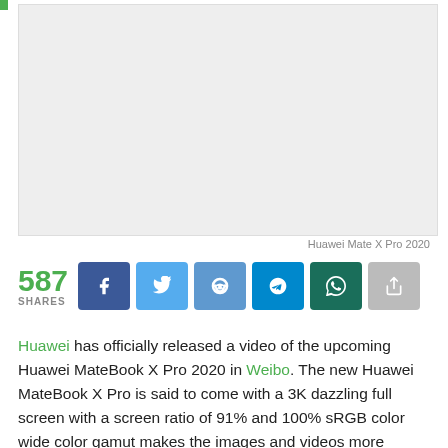[Figure (photo): Placeholder image area for Huawei Mate X Pro 2020 video thumbnail]
Huawei Mate X Pro 2020
[Figure (infographic): Social share bar showing 587 SHARES with buttons for Facebook, Twitter, Reddit, Telegram, WhatsApp, and a generic share button]
Huawei has officially released a video of the upcoming Huawei MateBook X Pro 2020 in Weibo. The new Huawei MateBook X Pro is said to come with a 3K dazzling full screen with a screen ratio of 91% and 100% sRGB color wide color gamut makes the images and videos more vibrant and realistic.